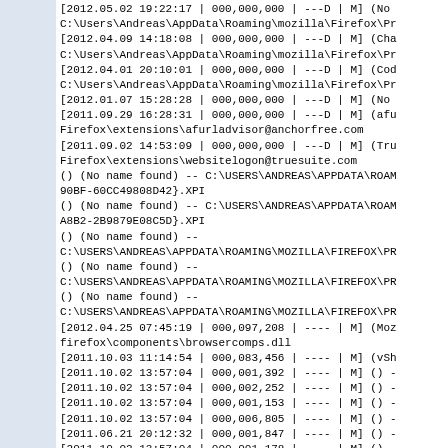Log/forensic output showing Firefox profile data, file timestamps, BHO entries. Contents include dated file entries with sizes, No name found XPI references, HOSTS file entry, and BHO registry entries for TrueSuite, Windows Live ID, and Hotspot Shield.